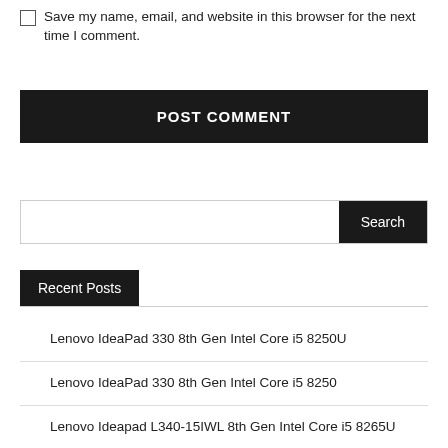Save my name, email, and website in this browser for the next time I comment.
POST COMMENT
Search
Recent Posts
Lenovo IdeaPad 330 8th Gen Intel Core i5 8250U
Lenovo IdeaPad 330 8th Gen Intel Core i5 8250
Lenovo Ideapad L340-15IWL 8th Gen Intel Core i5 8265U
Lenovo IdeaPad S145-15IWL 8th Gen Intel Core i5 8265U